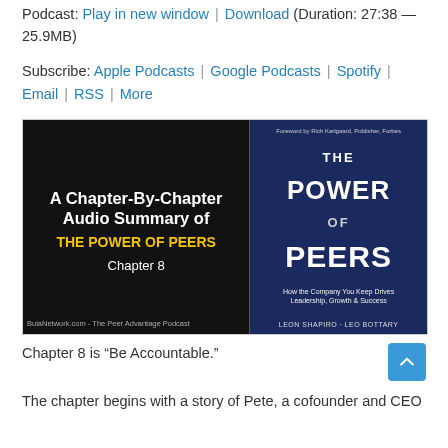Podcast: Play in new window | Download (Duration: 27:38 — 25.9MB)
Subscribe: Apple Podcasts | Google Podcasts | Spotify | Email | RSS | More
[Figure (illustration): Book cover image for 'The Power of Peers' by Leon Shapiro and Leo Bottary, with text 'A Chapter-By-Chapter Audio Summary of THE POWER OF PEERS - Chapter 8' on the left side and the actual book cover on the right. BulaNetwork.com - The Peer Advantage Podcast branding at the bottom.]
Chapter 8 is “Be Accountable.”
The chapter begins with a story of Pete, a cofounder and CEO